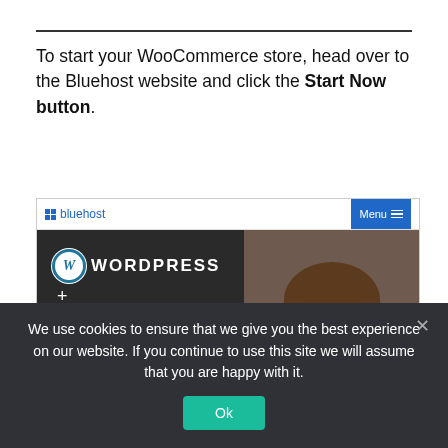To start your WooCommerce store, head over to the Bluehost website and click the Start Now button.
[Figure (screenshot): Screenshot of Bluehost website showing WordPress + WooCommerce hosting offer. Blue navigation bar with Bluehost logo and Menu button. Dark hero section with WordPress logo and text, WooCommerce badge, tagline 'Everything you need to sell online.', pricing starting at $13.99 crossed out with $6.95/month*. Photo of smiling woman on right side.]
We use cookies to ensure that we give you the best experience on our website. If you continue to use this site we will assume that you are happy with it.